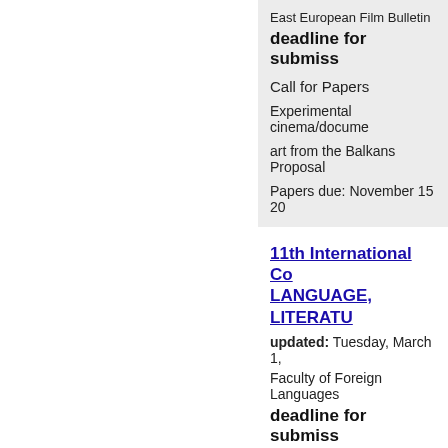East European Film Bulletin
deadline for submiss
Call for Papers
Experimental cinema/docume
art from the Balkans Proposal
Papers due: November 15 20
11th International Co
LANGUAGE, LITERATU
updated: Tuesday, March 1,
Faculty of Foreign Languages
deadline for submiss
Faculty of Foreign Languages
Language and Literary Studi